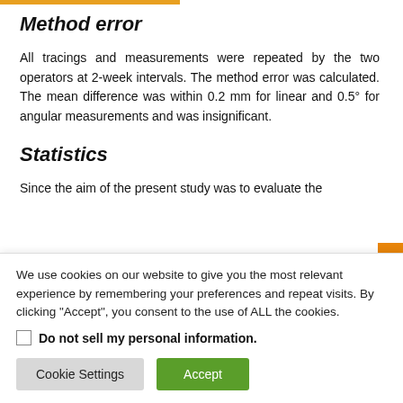Method error
All tracings and measurements were repeated by the two operators at 2-week intervals. The method error was calculated. The mean difference was within 0.2 mm for linear and 0.5° for angular measurements and was insignificant.
Statistics
Since the aim of the present study was to evaluate the
We use cookies on our website to give you the most relevant experience by remembering your preferences and repeat visits. By clicking "Accept", you consent to the use of ALL the cookies.
Do not sell my personal information.